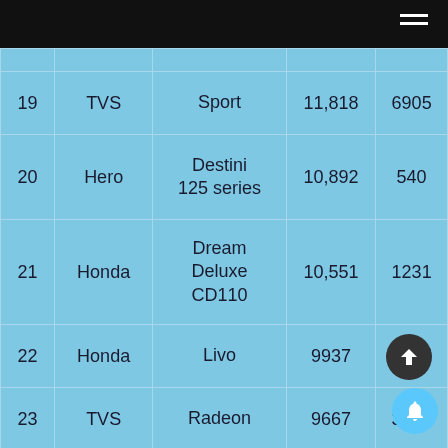| # | Brand | Model | Sales | Change |
| --- | --- | --- | --- | --- |
| 19 | TVS | Sport | 11,818 | 6905 |
| 20 | Hero | Destini 125 series | 10,892 | 540 |
| 21 | Honda | Dream Deluxe CD110 | 10,551 | 1231 |
| 22 | Honda | Livo | 9937 | 1747 |
| 23 | TVS | Radeon | 9667 | 3058 |
| 24 | Ola | S1 Pro | 9225 | – |